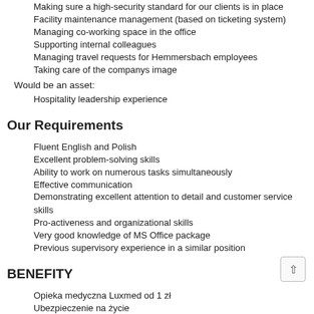Making sure a high-security standard for our clients is in place
Facility maintenance management (based on ticketing system)
Managing co-working space in the office
Supporting internal colleagues
Managing travel requests for Hemmersbach employees
Taking care of the companys image
Would be an asset:
Hospitality leadership experience
Our Requirements
Fluent English and Polish
Excellent problem-solving skills
Ability to work on numerous tasks simultaneously
Effective communication
Demonstrating excellent attention to detail and customer service skills
Pro-activeness and organizational skills
Very good knowledge of MS Office package
Previous supervisory experience in a similar position
BENEFITY
Opieka medyczna Luxmed od 1 zł
Ubezpieczenie na życie
Dofinansowanie karty Multisport